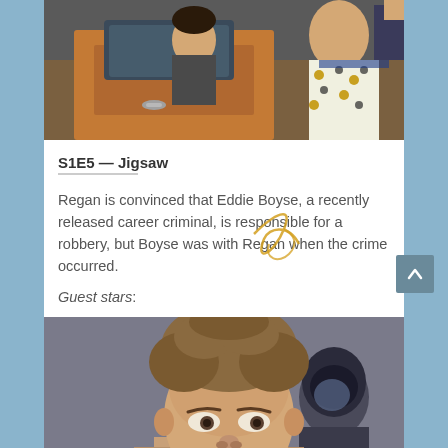[Figure (photo): Scene from TV show showing a person in a car (orange/brown vintage vehicle) with another person in a polka dot dress visible outside]
S1E5 — Jigsaw
Regan is convinced that Eddie Boyse, a recently released career criminal, is responsible for a robbery, but Boyse was with Regan when the crime occurred.
Guest stars:
[Figure (photo): Close-up of a man with curly brown hair looking at the camera, with another figure partially visible in the background]